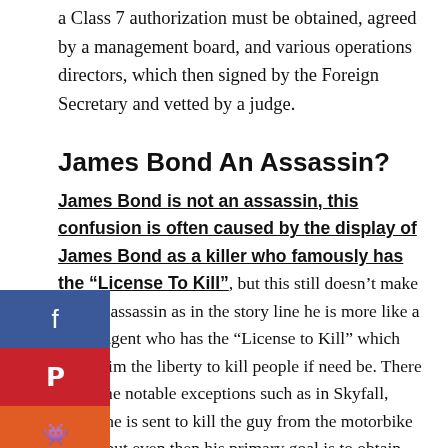a Class 7 authorization must be obtained, agreed by a management board, and various operations directors, which then signed by the Foreign Secretary and vetted by a judge.
James Bond An Assassin?
James Bond is not an assassin, this confusion is often caused by the display of James Bond as a killer who famously has the “License To Kill”, but this still doesn’t make him an assassin as in the story line he is more like a secret agent who has the “License to Kill” which gives him the liberty to kill people if need be. There are some notable exceptions such as in Skyfall, where he is sent to kill the guy from the motorbike chase, but even then his primary goal is to obtain